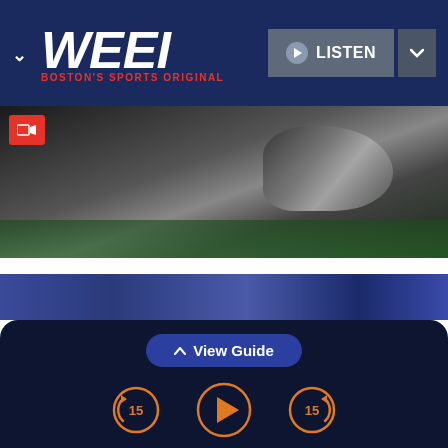WEEI — BOSTON'S SPORTS ORIGINAL
[Figure (photo): Football player on field, video thumbnail with red video camera badge in top-left corner]
With 'real football' arriving, Mac Jones' Patriots still have real problems
Sports  August 27, 2022
[Figure (screenshot): Audio player bottom bar with View Guide button and playback controls: skip back 15s, play, skip forward 15s]